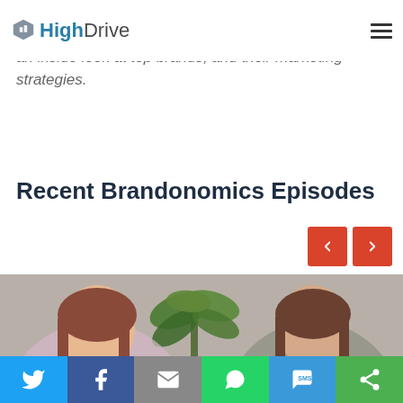HighDrive
an inside look at top brands, and their marketing strategies.
Recent Brandonomics Episodes
[Figure (photo): Two women seated in an office setting with a plant in the background, used as a video episode thumbnail.]
Share buttons: Twitter, Facebook, Email, WhatsApp, SMS, Other